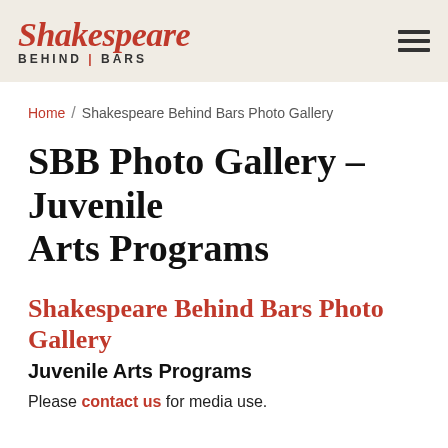Shakespeare Behind Bars
Home / Shakespeare Behind Bars Photo Gallery
SBB Photo Gallery – Juvenile Arts Programs
Shakespeare Behind Bars Photo Gallery
Juvenile Arts Programs
Please contact us for media use.
« back to album
Audubon Youth Development